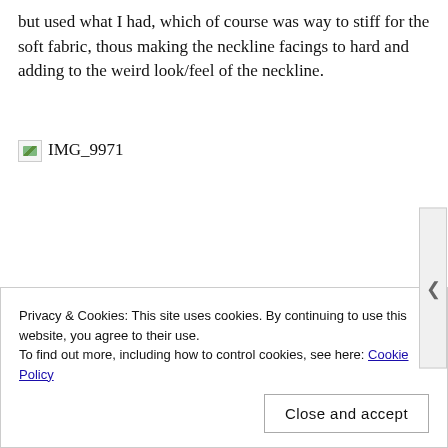but used what I had, which of course was way to stiff for the soft fabric, thous making the neckline facings to hard and adding to the weird look/feel of the neckline.
[Figure (photo): Broken image placeholder with label IMG_9971]
Privacy & Cookies: This site uses cookies. By continuing to use this website, you agree to their use.
To find out more, including how to control cookies, see here: Cookie Policy
Close and accept